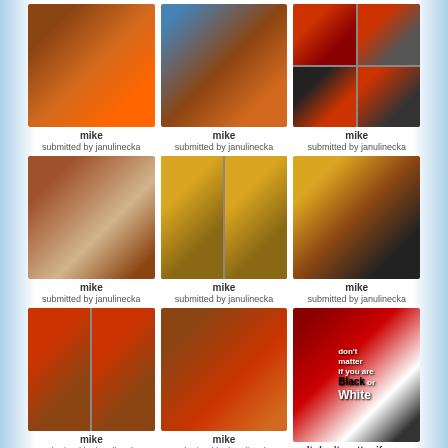[Figure (photo): Photo of person in red jacket near orange ladder]
mike
submitted by janulinecka
[Figure (photo): Photo of person in red jacket near blue and orange ladder, wider shot]
mike
submitted by janulinecka
[Figure (photo): Four-panel collage of person in red clothing with dramatic lighting]
mike
submitted by janulinecka
[Figure (photo): Photo of people working at a table with makeup/props]
mike
submitted by janulinecka
[Figure (photo): Two-panel photo of person in yellow shirt having makeup/prosthetics applied]
mike
submitted by janulinecka
[Figure (photo): Photo of person in yellow shirt having contact lens or eye makeup applied]
mike
submitted by janulinecka
[Figure (photo): Two-panel photo of persons in red Thriller-style jackets in indoor setting]
mike
submitted by janulinecka
[Figure (photo): Photo of two people in Thriller-style red jackets in bar/restaurant setting]
mike
submitted by janulinecka
[Figure (illustration): Red and black poster with text: don't matter if you are Black or White. It don't matter if your]